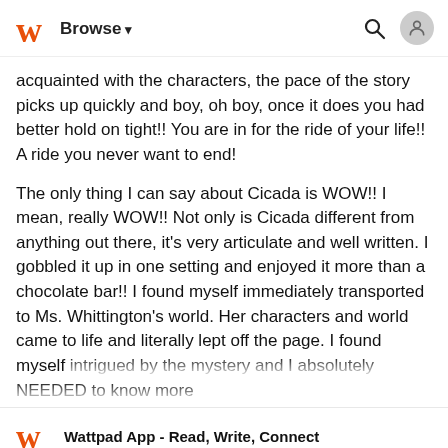Browse
acquainted with the characters, the pace of the story picks up quickly and boy, oh boy, once it does you had better hold on tight!! You are in for the ride of your life!! A ride you never want to end!
The only thing I can say about Cicada is WOW!! I mean, really WOW!! Not only is Cicada different from anything out there, it's very articulate and well written. I gobbled it up in one setting and enjoyed it more than a chocolate bar!! I found myself immediately transported to Ms. Whittington's world. Her characters and world came to life and literally lept off the page. I found myself intrigued by the mystery and I absolutely NEEDED to know more
Wattpad App - Read, Write, Connect
Start Reading
Log in with Browser